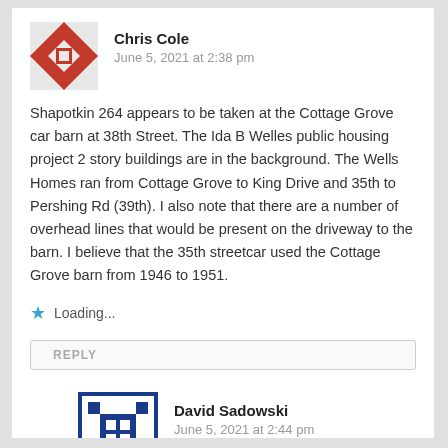[Figure (illustration): Red and white decorative quilt-pattern avatar for Chris Cole]
Chris Cole
June 5, 2021 at 2:38 pm
Shapotkin 264 appears to be taken at the Cottage Grove car barn at 38th Street. The Ida B Welles public housing project 2 story buildings are in the background. The Wells Homes ran from Cottage Grove to King Drive and 35th to Pershing Rd (39th). I also note that there are a number of overhead lines that would be present on the driveway to the barn. I believe that the 35th streetcar used the Cottage Grove barn from 1946 to 1951.
Loading...
REPLY
[Figure (illustration): Blue and white decorative quilt-pattern avatar for David Sadowski]
David Sadowski
June 5, 2021 at 2:44 pm